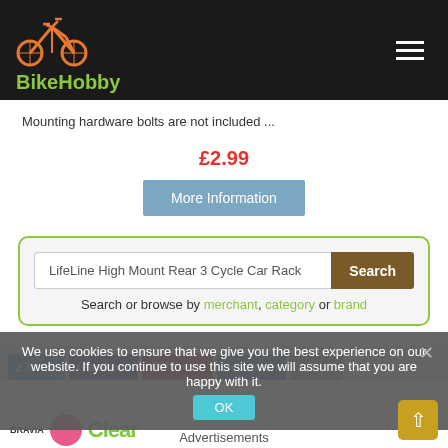[Figure (logo): BikeHobby logo with orange bicycle icon and green text on black background header bar]
Mounting hardware bolts are not included ...
£2.99
More Information
LifeLine High Mount Rear 3 Cycle Car Rack
Search or browse by merchant, category or brand
Twitter Facebook Pinterest LinkedIn Email
We use cookies to ensure that we give you the best experience on our website. If you continue to use this site we will assume that you are happy with it.
Advertisements
[Figure (screenshot): Bottom ad banner strip with BRAVIA text, pink circle, and green advertisement text]